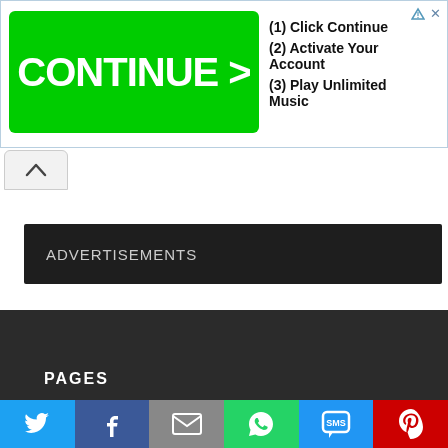[Figure (screenshot): Advertisement banner with green CONTINUE > button on left and text '(1) Click Continue, (2) Activate Your Account, (3) Play Unlimited Music' on right]
[Figure (screenshot): Collapse/chevron up button below the ad banner]
ADVERTISEMENTS
PAGES
[Figure (infographic): Social share buttons row: Twitter (blue bird), Facebook (blue f), Email (grey envelope), WhatsApp (green phone), SMS (blue SMS), Pinterest (red P)]